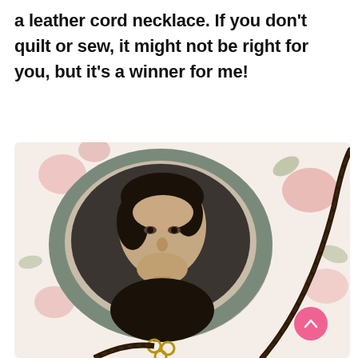a leather cord necklace. If you don't quilt or sew, it might not be right for you, but it's a winner for me!
[Figure (photo): A vintage oval portrait medallion showing a young man with dark hair parted to the side, wearing a dark jacket, displayed on a floral fabric background with a braided leather cord necklace attached via small metal rings.]